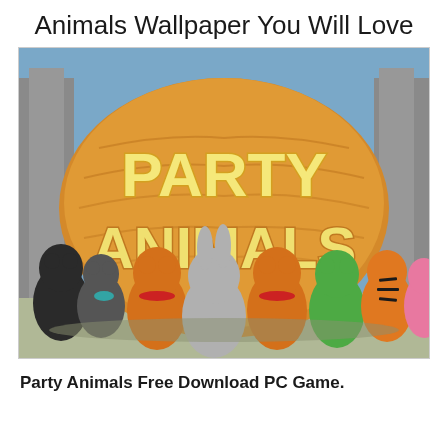Animals Wallpaper You Will Love
[Figure (screenshot): Party Animals video game promotional image showing cartoon animal characters (bear, rabbit, cat, dinosaur, tiger, and others) viewed from behind, standing in front of a large stone monument with 'PARTY ANIMALS' written in bold 3D letters. The background shows stone pillars and a blue sky.]
Party Animals Free Download PC Game.